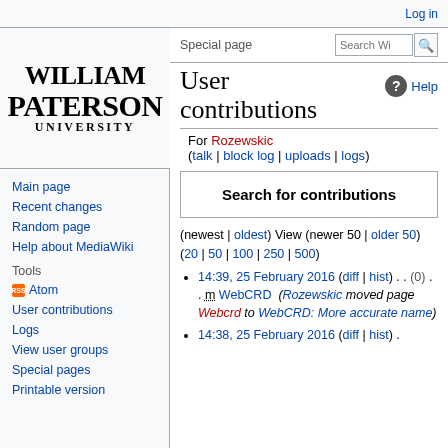Log in
[Figure (logo): William Paterson University logo in black serif text]
Main page
Recent changes
Random page
Help about MediaWiki
Tools
Atom
User contributions
Logs
View user groups
Special pages
Printable version
User contributions
For Rozewskic (talk | block log | uploads | logs)
Search for contributions
(newest | oldest) View (newer 50 | older 50) (20 | 50 | 100 | 250 | 500)
14:39, 25 February 2016 (diff | hist) . . (0) . . m WebCRD (Rozewskic moved page Webcrd to WebCRD: More accurate name)
14:38, 25 February 2016 (diff | hist) .